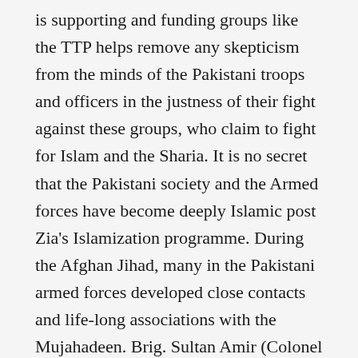is supporting and funding groups like the TTP helps remove any skepticism from the minds of the Pakistani troops and officers in the justness of their fight against these groups, who claim to fight for Islam and the Sharia. It is no secret that the Pakistani society and the Armed forces have become deeply Islamic post Zia's Islamization programme. During the Afghan Jihad, many in the Pakistani armed forces developed close contacts and life-long associations with the Mujahadeen. Brig. Sultan Amir (Colonel Imam) has been a legendary figure in the Pak army and a supporter of the Taliban till his assassination ironically by the latter. Khalid Mehmood, a technician with the Pakistan Air Force was convicted and hanged in